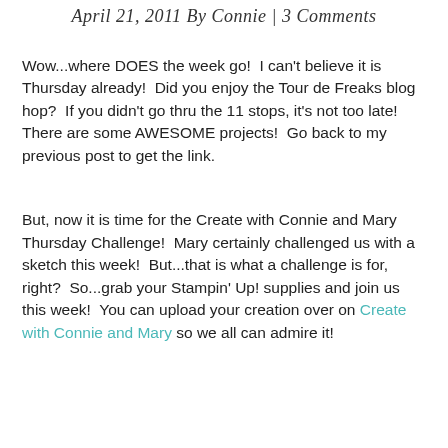April 21, 2011 By Connie | 3 Comments
Wow...where DOES the week go!  I can't believe it is Thursday already!  Did you enjoy the Tour de Freaks blog hop?  If you didn't go thru the 11 stops, it's not too late!  There are some AWESOME projects!  Go back to my previous post to get the link.
But, now it is time for the Create with Connie and Mary Thursday Challenge!  Mary certainly challenged us with a sketch this week!  But...that is what a challenge is for, right?  So...grab your Stampin' Up! supplies and join us this week!  You can upload your creation over on Create with Connie and Mary so we all can admire it!